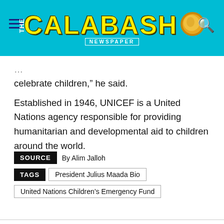THE CALABASH NEWSPAPER
celebrate children,” he said.
Established in 1946, UNICEF is a United Nations agency responsible for providing humanitarian and developmental aid to children around the world.
SOURCE: By Alim Jalloh
TAGS: President Julius Maada Bio | United Nations Children’s Emergency Fund